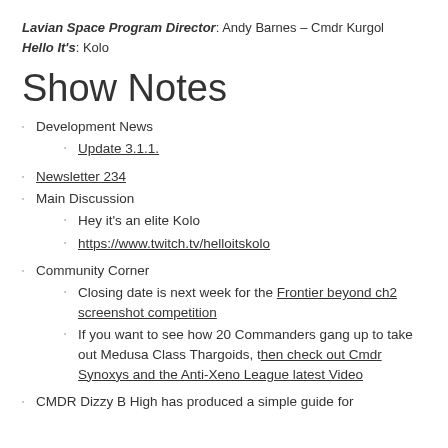Lavian Space Program Director: Andy Barnes – Cmdr Kurgol
Hello It's: Kolo
Show Notes
Development News
Update 3.1.1.
Newsletter 234
Main Discussion
Hey it's an elite Kolo
https://www.twitch.tv/helloitskolo
Community Corner
Closing date is next week for the Frontier beyond ch2 screenshot competition
If you want to see how 20 Commanders gang up to take out Medusa Class Thargoids, then check out Cmdr Synoxys and the Anti-Xeno League latest Video
CMDR Dizzy B High has produced a simple guide for